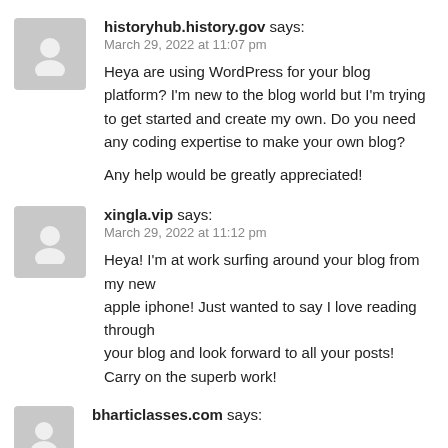[Figure (illustration): Grey avatar placeholder icon for user historyhub.history.gov]
historyhub.history.gov says:
March 29, 2022 at 11:07 pm
Heya are using WordPress for your blog platform? I'm new to the blog world but I'm trying to get started and create my own. Do you need any coding expertise to make your own blog?

Any help would be greatly appreciated!
[Figure (illustration): Grey avatar placeholder icon for user xingla.vip]
xingla.vip says:
March 29, 2022 at 11:12 pm
Heya! I'm at work surfing around your blog from my new
apple iphone! Just wanted to say I love reading through
your blog and look forward to all your posts! Carry on the superb work!
[Figure (illustration): Grey avatar placeholder icon for user bharticlasses.com]
bharticlasses.com says: